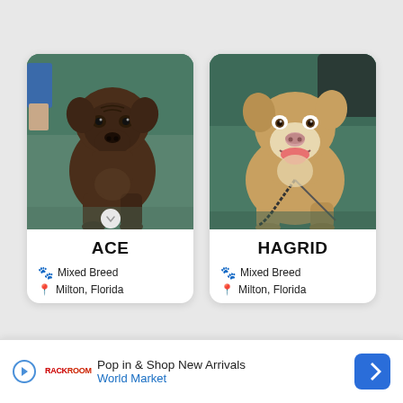[Figure (photo): Photo of ACE, a dark brown mixed breed dog (mastiff type) standing indoors on a teal floor, facing camera]
ACE
Mixed Breed
Milton, Florida
[Figure (photo): Photo of HAGRID, a tan/blonde mixed breed dog (pit bull type) standing indoors on a teal floor, mouth open and smiling, on a leash]
HAGRID
Mixed Breed
Milton, Florida
Pop in & Shop New Arrivals
World Market